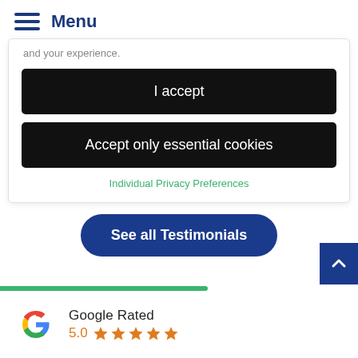Menu
and your experience.
I accept
Accept only essential cookies
Individual Privacy Preferences
See all Testimonials
[Figure (logo): Google G logo and star rating badge showing 5.0 with 5 orange stars and text 'Google Rated']
Google Rated 5.0 ★★★★★